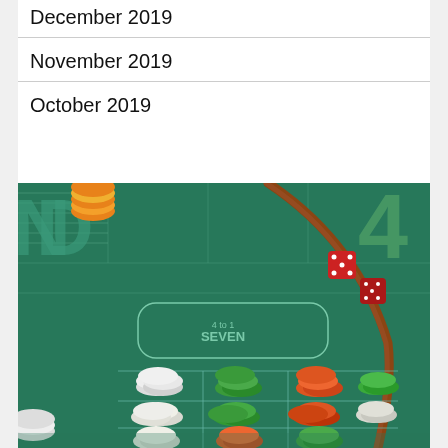December 2019
November 2019
October 2019
[Figure (photo): Overhead view of a casino craps table with green felt, poker chips stacked on numbered sections, two red dice, a wooden croupier stick, and markings including '4 to 1 SEVEN'.]